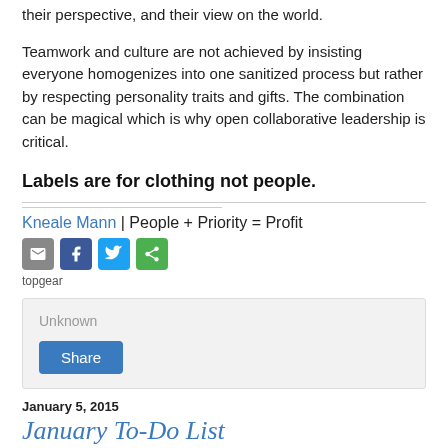their perspective, and their view on the world.
Teamwork and culture are not achieved by insisting everyone homogenizes into one sanitized process but rather by respecting personality traits and gifts. The combination can be magical which is why open collaborative leadership is critical.
Labels are for clothing not people.
Kneale Mann | People + Priority = Profit
[Figure (infographic): Social sharing icons: email (grey), Facebook (blue), Twitter (light blue), share (green)]
topgear
Unknown
Share
January 5, 2015
January To-Do List